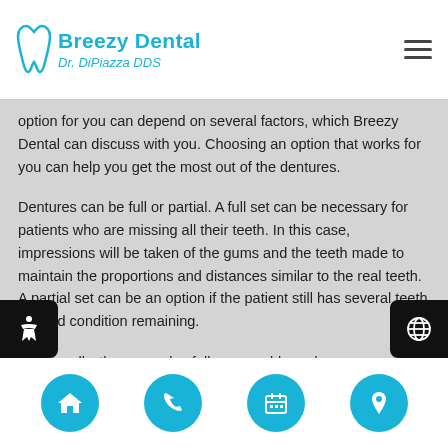Breezy Dental Dr. DiPiazza DDS
option for you can depend on several factors, which Breezy Dental can discuss with you. Choosing an option that works for you can help you get the most out of the dentures.
Dentures can be full or partial. A full set can be necessary for patients who are missing all their teeth. In this case, impressions will be taken of the gums and the teeth made to maintain the proportions and distances similar to the real teeth. A partial set can be an option if the patient still has several teeth in good condition remaining.
Additionally, there are also fully removable and
Home | Phone | Calendar | Location